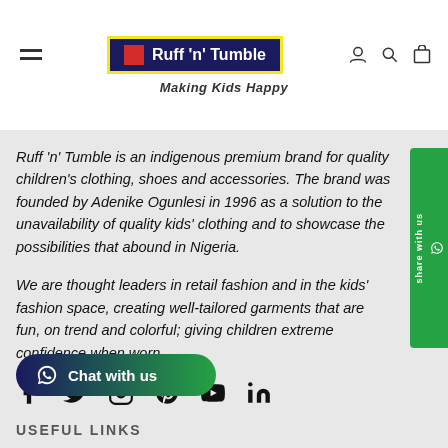[Figure (logo): Ruff 'n' Tumble logo with yellow border, dark blue background, red square, white text. Tagline: Making Kids Happy]
Ruff 'n' Tumble is an indigenous premium brand for quality children's clothing, shoes and accessories. The brand was founded by Adenike Ogunlesi in 1996 as a solution to the unavailability of quality kids' clothing and to showcase the possibilities that abound in Nigeria.
We are thought leaders in retail fashion and in the kids' fashion space, creating well-tailored garments that are fun, on trend and colorful; giving children extreme confidence when worn.
[Figure (other): Social media icons: Facebook, Twitter, Instagram, Pinterest, YouTube, LinkedIn]
[Figure (other): Chat with us WhatsApp button]
USEFUL LINKS